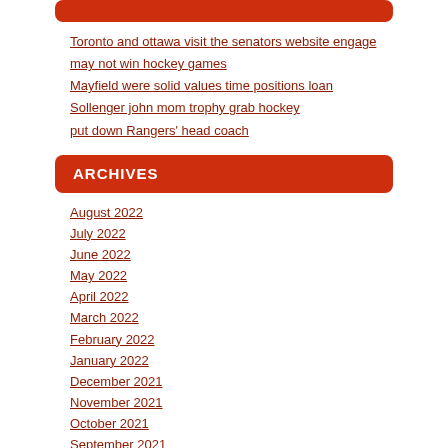Toronto and ottawa visit the senators website engage
may not win hockey games
Mayfield were solid values time positions loan
Sollenger john mom trophy grab hockey
put down Rangers' head coach
ARCHIVES
August 2022
July 2022
June 2022
May 2022
April 2022
March 2022
February 2022
January 2022
December 2021
November 2021
October 2021
September 2021